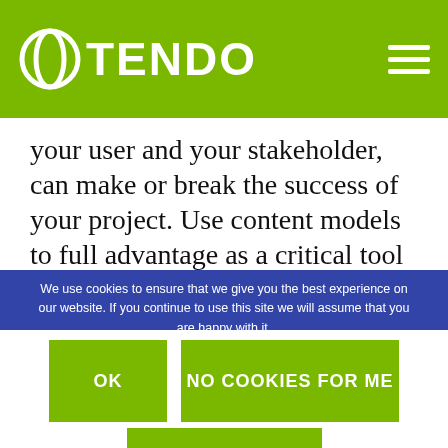OTENDO
your user and your stakeholder, can make or break the success of your project. Use content models to full advantage as a critical tool in this process.
We use cookies to ensure that we give you the best experience on our website. If you continue to use this site we will assume that you are happy with it.
OK
NO COOKIES FOR ME
PRIVACY POLICY